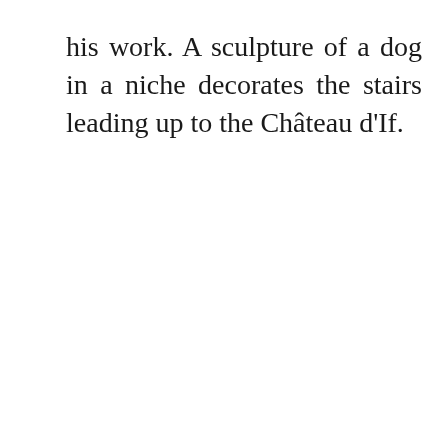his work. A sculpture of a dog in a niche decorates the stairs leading up to the Château d'If.